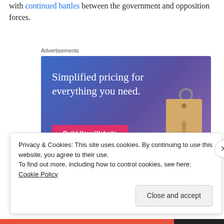with continued battles between the government and opposition forces.
Advertisements
[Figure (illustration): Advertisement banner with blue-purple gradient background, showing text 'Simplified pricing for everything you need.' with a pink 'Build Your Website' button and a tan price tag illustration on the right.]
Privacy & Cookies: This site uses cookies. By continuing to use this website, you agree to their use.
To find out more, including how to control cookies, see here: Cookie Policy
Close and accept